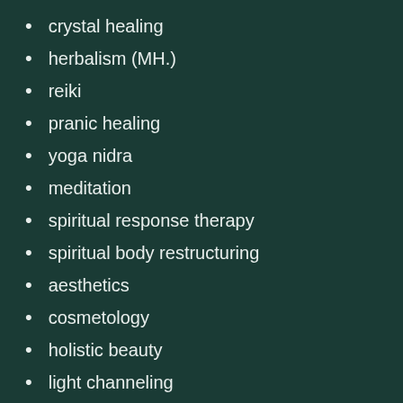crystal healing
herbalism (MH.)
reiki
pranic healing
yoga nidra
meditation
spiritual response therapy
spiritual body restructuring
aesthetics
cosmetology
holistic beauty
light channeling